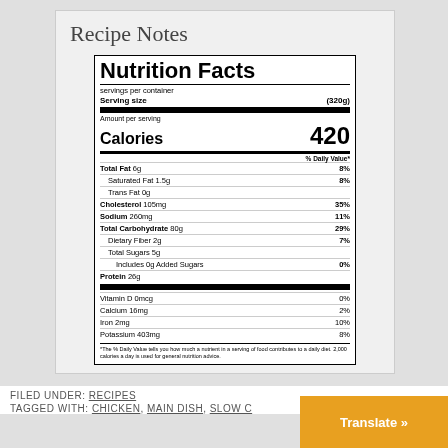Recipe Notes
| Nutrition Facts |
| servings per container |
| Serving size | (320g) |
| Amount per serving |
| Calories | 420 |
| % Daily Value* |
| Total Fat 6g | 8% |
| Saturated Fat 1.5g | 8% |
| Trans Fat 0g |  |
| Cholesterol 105mg | 35% |
| Sodium 260mg | 11% |
| Total Carbohydrate 80g | 29% |
| Dietary Fiber 2g | 7% |
| Total Sugars 5g |  |
| Includes 0g Added Sugars | 0% |
| Protein 26g |  |
| Vitamin D 0mcg | 0% |
| Calcium 16mg | 2% |
| Iron 2mg | 10% |
| Potassium 403mg | 8% |
| *The % Daily Value tells you how much a nutrient in a serving of food contributes to a daily diet. 2,000 calories a day is used for general nutrition advice. |  |
FILED UNDER: RECIPES
TAGGED WITH: CHICKEN, MAIN DISH, SLOW C...